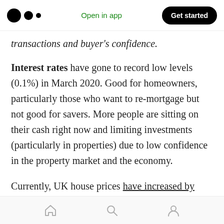Medium logo | Open in app | Get started
transactions and buyer's confidence.
Interest rates have gone to record low levels (0.1%) in March 2020. Good for homeowners, particularly those who want to re-mortgage but not good for savers. More people are sitting on their cash right now and limiting investments (particularly in properties) due to low confidence in the property market and the economy.
Currently, UK house prices have increased by 1.7% in July 2020, compared to July 2020, and up by 1.5% compared to July 2019.
Home | Search | Profile